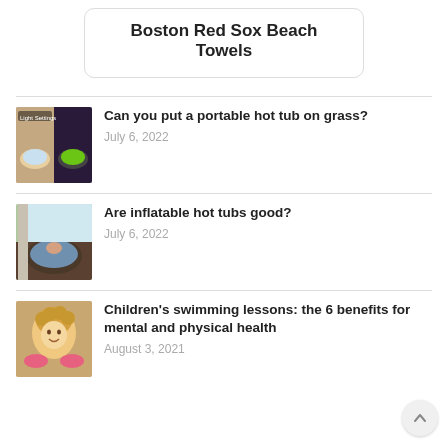Boston Red Sox Beach Towels
[Figure (photo): Thumbnail image of inflatable hot tub with light settings display]
Can you put a portable hot tub on grass?
July 6, 2022
[Figure (photo): Thumbnail image of inflatable hot tub outdoors with person inside]
Are inflatable hot tubs good?
July 6, 2022
[Figure (photo): Thumbnail image of a young child with curly hair and swim floaties]
Children's swimming lessons: the 6 benefits for mental and physical health
August 3, 2021